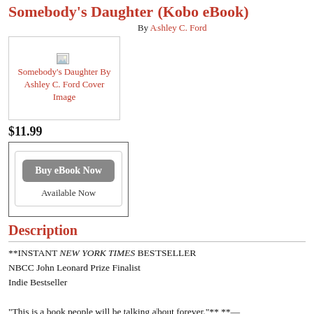Somebody's Daughter (Kobo eBook)
By Ashley C. Ford
[Figure (photo): Cover image placeholder for Somebody's Daughter By Ashley C. Ford Cover Image]
$11.99
Buy eBook Now
Available Now
Description
**INSTANT NEW YORK TIMES BESTSELLER
NBCC John Leonard Prize Finalist
Indie Bestseller

"This is a book people will be talking about forever."** **—
**Glennon Doyle, #1 New York Times bestselling author of